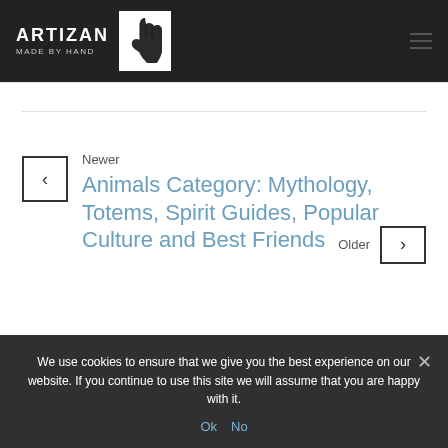[Figure (logo): Artizan Made By Hand logo with hand print icon on dark background]
Newer
Animals Category: Mythology, Totems, Spirit Guides, Popular Culture and Best Friends
Older
We use cookies to ensure that we give you the best experience on our website. If you continue to use this site we will assume that you are happy with it.
Ok  No